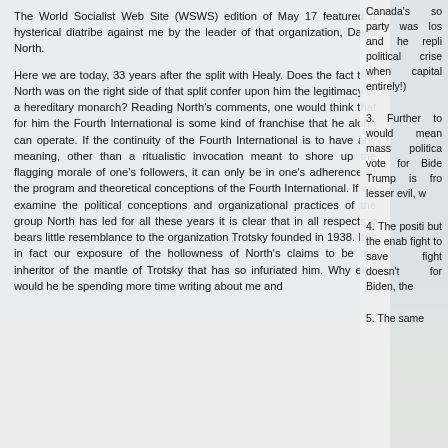The World Socialist Web Site (WSWS) edition of May 17 featured a hysterical diatribe against me by the leader of that organization, David North.
Here we are today, 33 years after the split with Healy. Does the fact that North was on the right side of that split confer upon him the legitimacy of a hereditary monarch? Reading North's comments, one would think that for him the Fourth International is some kind of franchise that he alone can operate. If the continuity of the Fourth International is to have any meaning, other than a ritualistic invocation meant to shore up the flagging morale of one's followers, it can only be in one's adherence to the program and theoretical conceptions of the Fourth International. If we examine the political conceptions and organizational practices of the group North has led for all these years it is clear that in all respects it bears little resemblance to the organization Trotsky founded in 1938. It is in fact our exposure of the hollowness of North's claims to be the inheritor of the mantle of Trotsky that has so infuriated him. Why else would he be spending more time writing about me and
Canada's so party was los and he repli political crise when capital entirely!)
3. Further to would mean mass politica vote for Bide Trump is fro lesser evil, w
4. The positi but the enab fight to save fight doesn't for Biden, the
5. The same